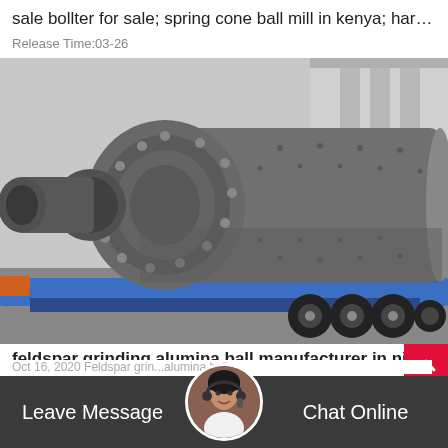sale bollter for sale; spring cone ball mill in kenya; hard...
Release Time:03-26
[Figure (photo): Large industrial ball mill being transported on a flatbed truck. The cylindrical steel ball mill with bolted flanges and a protruding inlet pipe is shown outdoors in an industrial yard.]
feldspar grinding alumina ball manufacturer in niam
Oct 16, 2020 Feldspar grin... alumina ball
Leave Message   Chat Online